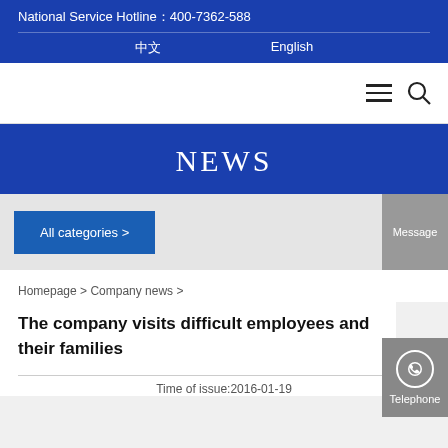National Service Hotline：400-7362-588
中文   English
NEWS
All categories >
Message
Telephone
Homepage > Company news >
The company visits difficult employees and their families
Time of issue:2016-01-19